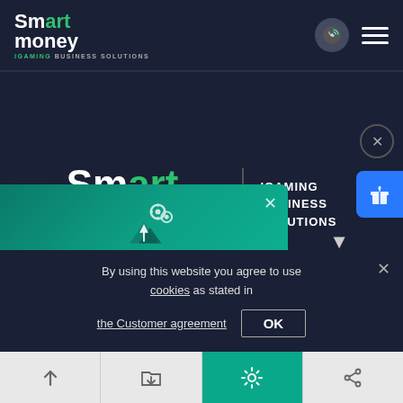[Figure (screenshot): SmartMoney iGaming Business Solutions website screenshot showing top navigation bar with logo, phone button, and hamburger menu]
[Figure (logo): SmartMoney iGaming Business Solutions large center logo with tagline]
[Figure (infographic): Teal popup: Configurator of a casino - Create a unique gaming site absolutely free!]
By using this website you agree to use cookies as stated in
the Customer agreement
OK